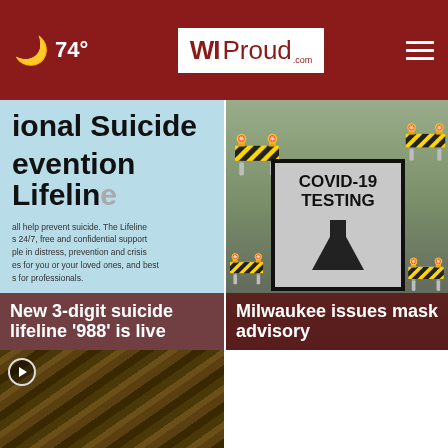74° — WIProud.com
[Figure (photo): National Suicide Prevention Lifeline poster with text about 24/7 free and confidential support]
New 3-digit suicide lifeline '988' is live
[Figure (photo): COVID-19 Testing sign with orange traffic cones on a road]
Milwaukee issues mask advisory
[Figure (photo): Interior video thumbnail showing warehouse ceiling structure with play button overlay]